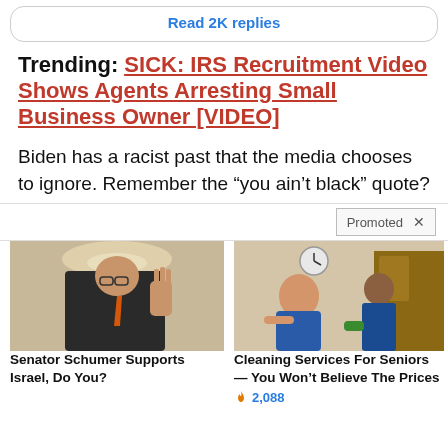Read 2K replies
Trending: SICK: IRS Recruitment Video Shows Agents Arresting Small Business Owner [VIDEO]
Biden has a racist past that the media chooses to ignore. Remember the “you ain’t black” quote?
Promoted ×
[Figure (photo): Senator Schumer gesturing with hand raised, wearing suit and orange tie, speaking at press conference]
Senator Schumer Supports Israel, Do You?
[Figure (photo): Two women cleaning staff in blue aprons, one smiling, cleaning furniture]
Cleaning Services For Seniors — You Won’t Believe The Prices
🔥 2,088